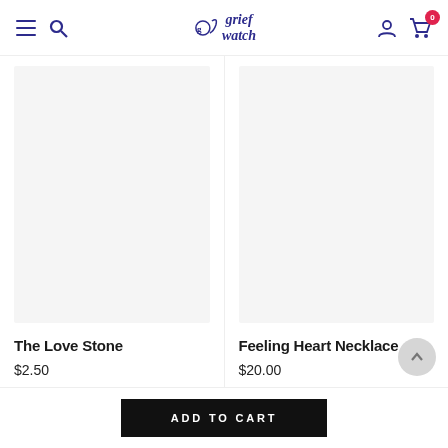grief watch — navigation header with hamburger menu, search, logo, user account, and cart (0 items)
[Figure (photo): Product image area for The Love Stone (blank/white product image placeholder)]
The Love Stone
$2.50
[Figure (photo): Product image area for Feeling Heart Necklace (blank/white product image placeholder)]
Feeling Heart Necklace
$20.00
ADD TO CART